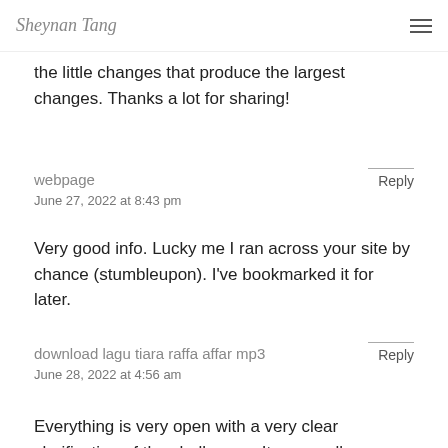Sheynan Tang [logo] [menu icon]
the little changes that produce the largest changes. Thanks a lot for sharing!
webpage
June 27, 2022 at 8:43 pm
Reply
Very good info. Lucky me I ran across your site by chance (stumbleupon). I've bookmarked it for later.
download lagu tiara raffa affar mp3
June 28, 2022 at 4:56 am
Reply
Everything is very open with a very clear clarification of the challenges. It was really informative. Your website